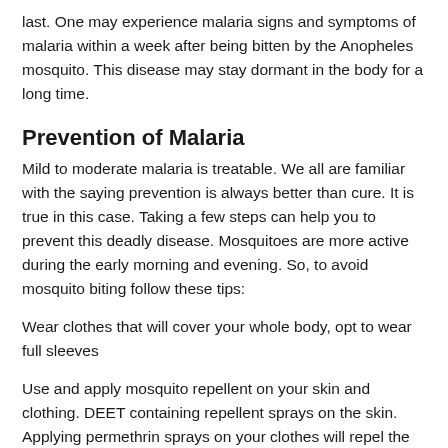last. One may experience malaria signs and symptoms of malaria within a week after being bitten by the Anopheles mosquito. This disease may stay dormant in the body for a long time.
Prevention of Malaria
Mild to moderate malaria is treatable. We all are familiar with the saying prevention is always better than cure. It is true in this case. Taking a few steps can help you to prevent this deadly disease. Mosquitoes are more active during the early morning and evening. So, to avoid mosquito biting follow these tips:
Wear clothes that will cover your whole body, opt to wear full sleeves
Use and apply mosquito repellent on your skin and clothing. DEET containing repellent sprays on the skin. Applying permethrin sprays on your clothes will repel the mosquitoes